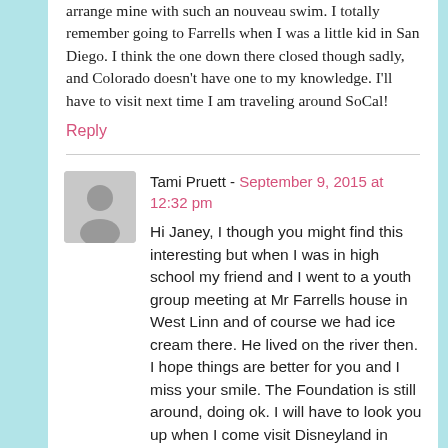arrange mine with such an nouveau swim. I totally remember going to Farrells when I was a little kid in San Diego. I think the one down there closed though sadly, and Colorado doesn't have one to my knowledge. I'll have to visit next time I am traveling around SoCal!
Reply
Tami Pruett - September 9, 2015 at 12:32 pm
[Figure (illustration): Grey avatar/profile placeholder icon showing a silhouette of a person]
Hi Janey, I though you might find this interesting but when I was in high school my friend and I went to a youth group meeting at Mr Farrells house in West Linn and of course we had ice cream there. He lived on the river then. I hope things are better for you and I miss your smile. The Foundation is still around, doing ok. I will have to look you up when I come visit Disneyland in couple of years. Tami The Foundation From Billie to Bettie Portland